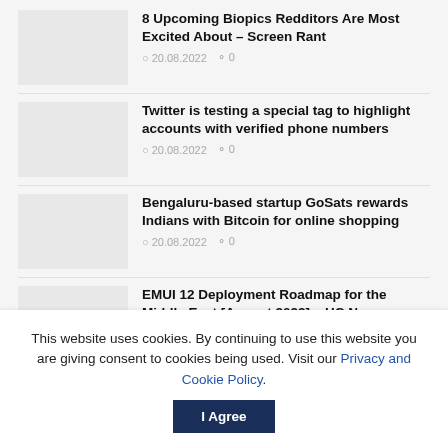8 Upcoming Biopics Redditors Are Most Excited About – Screen Rant
20.08.2022  0
Twitter is testing a special tag to highlight accounts with verified phone numbers
20.08.2022  0
Bengaluru-based startup GoSats rewards Indians with Bitcoin for online shopping
20.08.2022  0
EMUI 12 Deployment Roadmap for the Middle East [August 2022] – HC Newsroom
20.08.2022  0
This website uses cookies. By continuing to use this website you are giving consent to cookies being used. Visit our Privacy and Cookie Policy.
I Agree